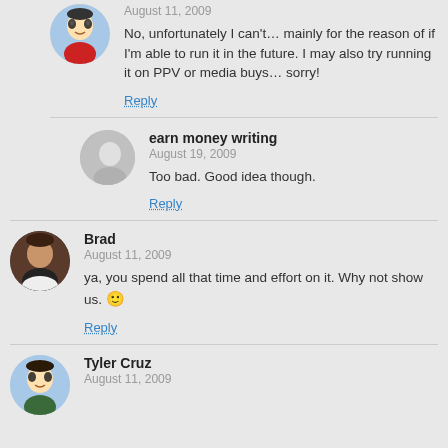August 11, 2009
No, unfortunately I can't… mainly for the reason of if I'm able to run it in the future. I may also try running it on PPV or media buys… sorry!
Reply
earn money writing
August 19, 2009
Too bad. Good idea though.
Reply
Brad
August 11, 2009
ya, you spend all that time and effort on it. Why not show us. 🙂
Reply
Tyler Cruz
August 11, 2009